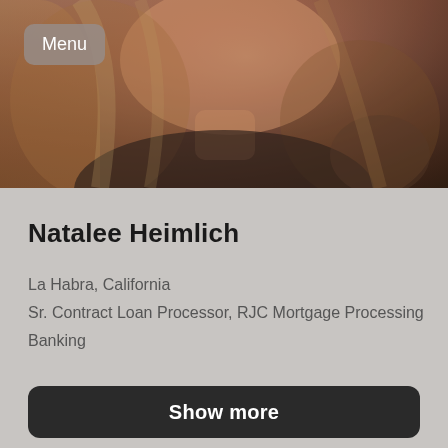[Figure (photo): Profile photo of a woman with blonde hair wearing a dark top, photographed from above at close range]
Menu
Natalee Heimlich
La Habra, California
Sr. Contract Loan Processor, RJC Mortgage Processing
Banking
Show more